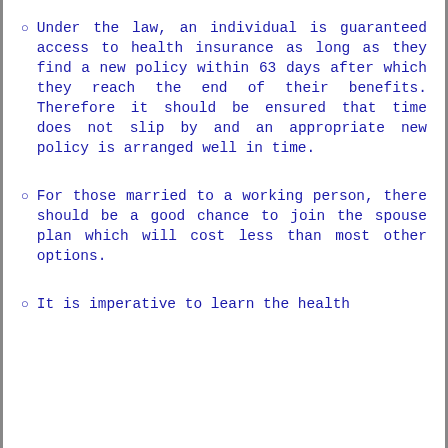Under the law, an individual is guaranteed access to health insurance as long as they find a new policy within 63 days after which they reach the end of their benefits. Therefore it should be ensured that time does not slip by and an appropriate new policy is arranged well in time.
For those married to a working person, there should be a good chance to join the spouse plan which will cost less than most other options.
It is imperative to learn the health